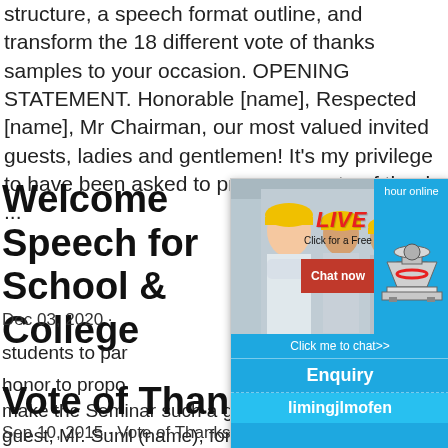structure, a speech format outline, and transform the 18 different vote of thanks samples to your occasion. OPENING STATEMENT. Honorable [name], Respected [name], Mr Chairman, our most valued invited guests, ladies and gentlemen! It's my privilege to have been asked to propose a vote of thanks ...
Welcome Speech for School & College
Dec 03, 2020 ·
students to par... at honor to propo... make the Seminar such a great success. T guest, Mr. Sunil (name), for taking part in to... Thank you for an exciting and thought-prov...
Vote of Thanks - Slides...
Sep 10, 2015 · Vote of Thanks Paul Wilson... 2. Thanks to our Host! 2. 3. Thanks to all our s... Thank you! • Policy SIG Chair and Co-Chai...
[Figure (infographic): Live chat advertisement overlay with workers in hard hats photo on left, LIVE CHAT text in red italic, 'Click for a Free Consultation' subtitle, Chat now and Chat later buttons, right panel with 'hour online' text and industrial machine image, plus Click me to chat, Enquiry, and limingjlmofen buttons at bottom]